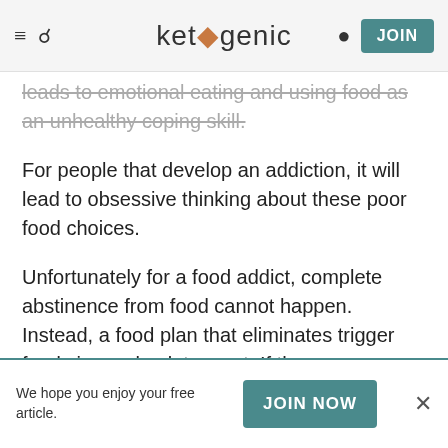ketogenic — navigation header with JOIN button
leads to emotional eating and using food as an unhealthy coping skill.
For people that develop an addiction, it will lead to obsessive thinking about these poor food choices.
Unfortunately for a food addict, complete abstinence from food cannot happen. Instead, a food plan that eliminates trigger foods is an absolute must. If the person eliminates this food, your brain never gets the chance to associate them with the dopamine reward,
We hope you enjoy your free article. JOIN NOW ×